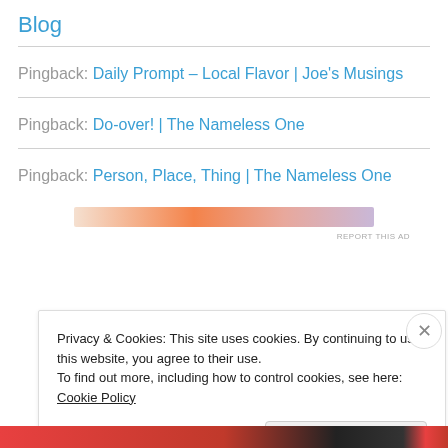Blog
Pingback: Daily Prompt – Local Flavor | Joe's Musings
Pingback: Do-over! | The Nameless One
Pingback: Person, Place, Thing | The Nameless One
[Figure (other): Advertisement banner with gradient orange and purple colors]
Privacy & Cookies: This site uses cookies. By continuing to use this website, you agree to their use. To find out more, including how to control cookies, see here: Cookie Policy
Close and accept